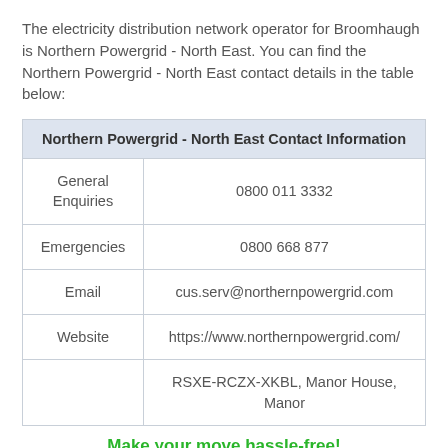The electricity distribution network operator for Broomhaugh is Northern Powergrid - North East. You can find the Northern Powergrid - North East contact details in the table below:
| Northern Powergrid - North East Contact Information |
| --- |
| General Enquiries | 0800 011 3332 |
| Emergencies | 0800 668 877 |
| Email | cus.serv@northernpowergrid.com |
| Website | https://www.northernpowergrid.com/ |
|  | RSXE-RCZX-XKBL, Manor House, Manor |
Make your move hassle-free!
Free callback